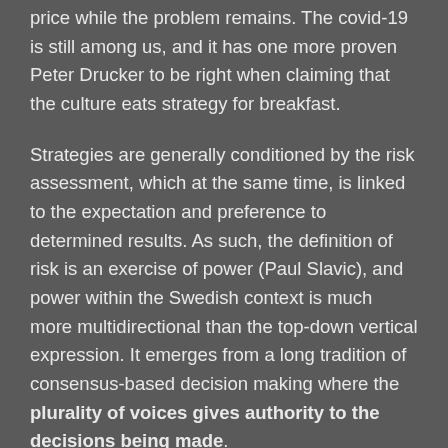price while the problem remains. The covid-19 is still among us, and it has one more proven Peter Drucker to be right when claiming that the culture eats strategy for breakfast.
Strategies are generally conditioned by the risk assessment, which at the same time, is linked to the expectation and preference to determined results. As such, the definition of risk is an exercise of power (Paul Slavic), and power within the Swedish context is much more multidirectional than the top-down vertical expression. It emerges from a long tradition of consensus-based decision making where the plurality of voices gives authority to the decisions being made.
This is where lies the second reason for understanding the "Swedish approach" of dealing with the pandemic.